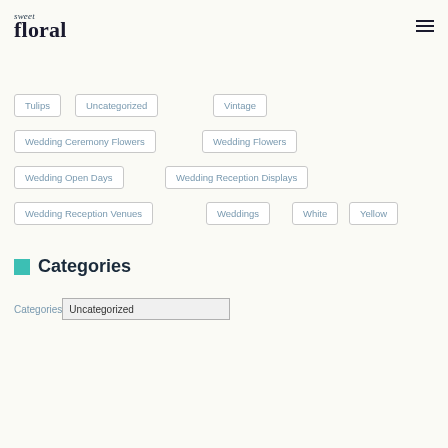sweet floral
Tulips
Uncategorized
Vintage
Wedding Ceremony Flowers
Wedding Flowers
Wedding Open Days
Wedding Reception Displays
Wedding Reception Venues
Weddings
White
Yellow
Categories
Categories: Uncategorized